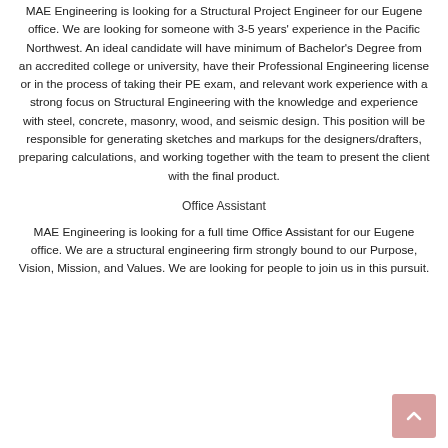MAE Engineering is looking for a Structural Project Engineer for our Eugene office. We are looking for someone with 3-5 years' experience in the Pacific Northwest. An ideal candidate will have minimum of Bachelor's Degree from an accredited college or university, have their Professional Engineering license or in the process of taking their PE exam, and relevant work experience with a strong focus on Structural Engineering with the knowledge and experience with steel, concrete, masonry, wood, and seismic design. This position will be responsible for generating sketches and markups for the designers/drafters, preparing calculations, and working together with the team to present the client with the final product.
Office Assistant
MAE Engineering is looking for a full time Office Assistant for our Eugene office. We are a structural engineering firm strongly bound to our Purpose, Vision, Mission, and Values. We are looking for people to join us in this pursuit.